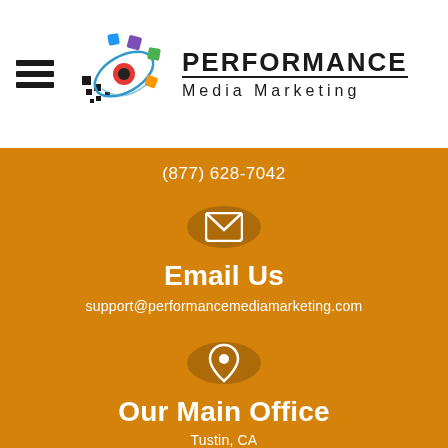[Figure (logo): Performance Media Marketing logo with colorful orbiting dots graphic and company name]
(877) 628-7042
[Figure (illustration): White envelope icon inside a dark orange circle]
Email Us
support@performancemediamarketing.com
[Figure (illustration): White map pin/location icon inside a dark orange circle]
Our Main Office
Tustin, CA